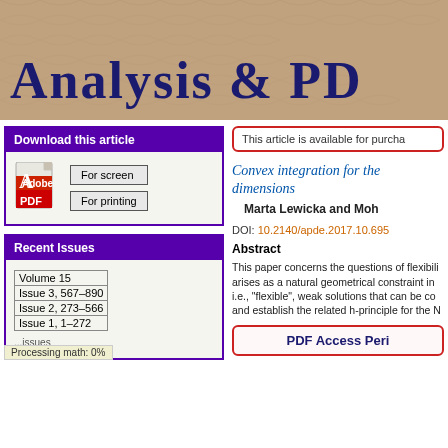[Figure (illustration): Banner image with textured fabric/leather background and journal title 'Analysis & PD' in large dark navy serif font]
Download this article
[Figure (illustration): PDF icon (Adobe PDF logo) with buttons: For screen, For printing]
Recent Issues
| Volume 15 |
| Issue 3, 567–890 |
| Issue 2, 273–566 |
| Issue 1, 1–272 |
Processing math: 0%
This article is available for purcha
Convex integration for the Monge–Ampère equation in two dimensions
Marta Lewicka and Moh
DOI: 10.2140/apde.2017.10.695
Abstract
This paper concerns the questions of flexibili arises as a natural geometrical constraint in i.e., "flexible", weak solutions that can be co and establish the related h-principle for the N
PDF Access Peri